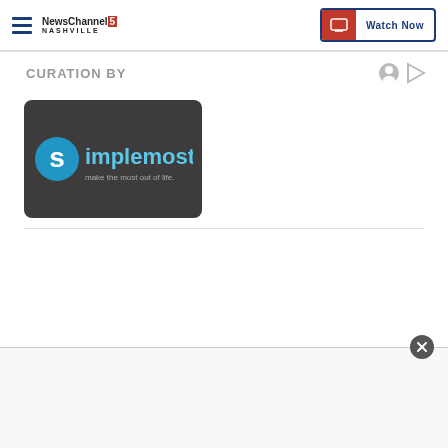NewsChannel 5 Nashville | Watch Now
CURATION BY
[Figure (logo): Simplemost logo on dark background with tagline 'make the most out of life.']
[Figure (other): Bottom advertisement overlay with close button]